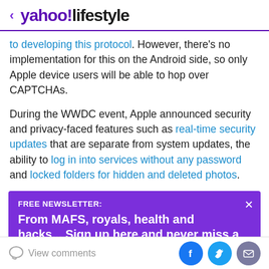< yahoo!lifestyle
to developing this protocol. However, there's no implementation for this on the Android side, so only Apple device users will be able to hop over CAPTCHAs.
During the WWDC event, Apple announced security and privacy-faced features such as real-time security updates that are separate from system updates, the ability to log in into services without any password and locked folders for hidden and deleted photos.
[Figure (infographic): Purple newsletter signup banner: FREE NEWSLETTER: From MAFS, royals, health and hacks... Sign up here and never miss a thing! with close X button]
View comments | Facebook, Twitter, Email share buttons